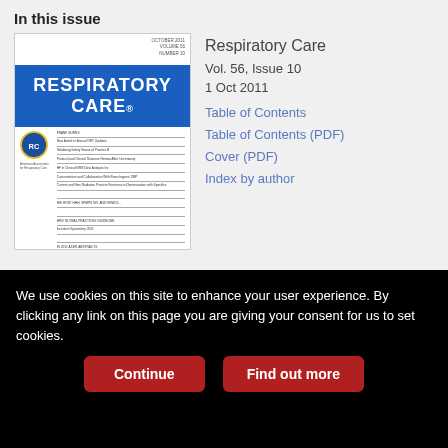In this issue
[Figure (photo): Cover image of Respiratory Care journal, Vol. 56 Issue 10, October 2011. Shows blue banner with white text 'RESPIRATORY CARE' and journal table of contents listing below.]
Respiratory Care
Vol. 56, Issue 10
1 Oct 2011
Table of Contents
Table of Contents (PDF)
Cover (PDF)
Index by author
Print
Share
Download PDF
We use cookies on this site to enhance your user experience. By clicking any link on this page you are giving your consent for us to set cookies.
Continue
Find out more